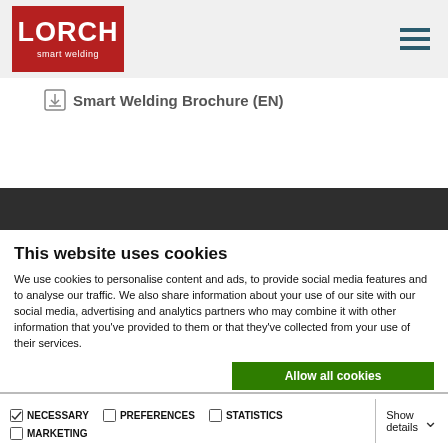[Figure (logo): Lorch smart welding logo - red background with white LORCH text and 'smart welding' subtitle]
[Figure (other): Hamburger menu icon - three horizontal dark teal lines]
Smart Welding Brochure (EN)
This website uses cookies
We use cookies to personalise content and ads, to provide social media features and to analyse our traffic. We also share information about your use of our site with our social media, advertising and analytics partners who may combine it with other information that you've provided to them or that they've collected from your use of their services.
Allow all cookies
Allow selection
Use necessary cookies only
NECESSARY  PREFERENCES  STATISTICS  MARKETING  Show details